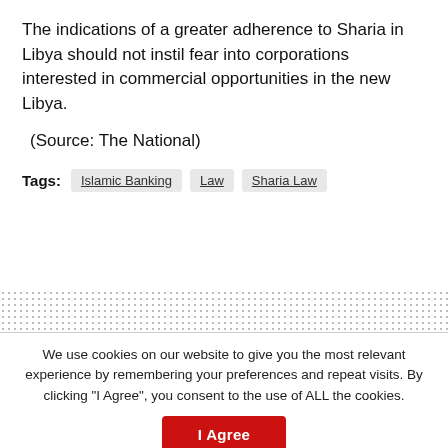The indications of a greater adherence to Sharia in Libya should not instil fear into corporations interested in commercial opportunities in the new Libya.
(Source: The National)
Tags: Islamic Banking  Law  Sharia Law
[Figure (other): Dotted/halftone pattern background area]
Home > Politics
We use cookies on our website to give you the most relevant experience by remembering your preferences and repeat visits. By clicking "I Agree", you consent to the use of ALL the cookies.